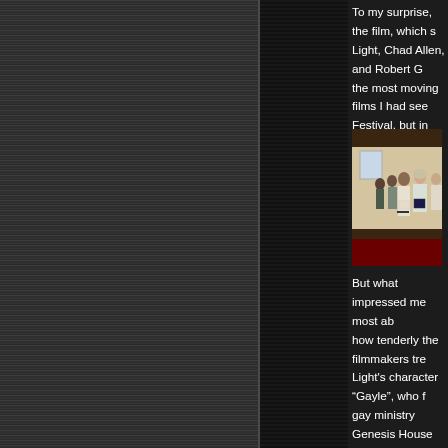To my surprise, the film, which s... Light, Chad Allen, and Robert G... the most moving films I had see... Festival, but in quite some time. beautifully crafted, the characte... the performances were outstan...
[Figure (photo): Group of people standing in what appears to be a church or assembly hall, holding books, seen from the side in profile]
But what impressed me most ab... how tenderly the filmmakers tre... Light's character "Gayle", who f... gay ministry Genesis House aft... committed suicide. I had expect... a mean and sarcastic stab at pe... to change their sexual orientatio... experienced deep compassion ... man at Genesis House for wh...